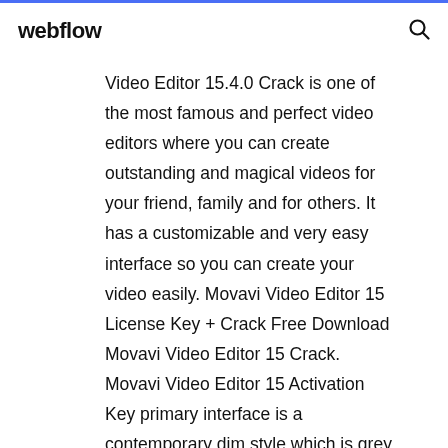webflow
Video Editor 15.4.0 Crack is one of the most famous and perfect video editors where you can create outstanding and magical videos for your friend, family and for others. It has a customizable and very easy interface so you can create your video easily. Movavi Video Editor 15 License Key + Crack Free Download Movavi Video Editor 15 Crack. Movavi Video Editor 15 Activation Key primary interface is a contemporary dim style which is grey into three components: a video player, a tabbed control panel, along with a functioning bar displaying open data. File, Playback, Edit, and circular aid menus through the taskbar.